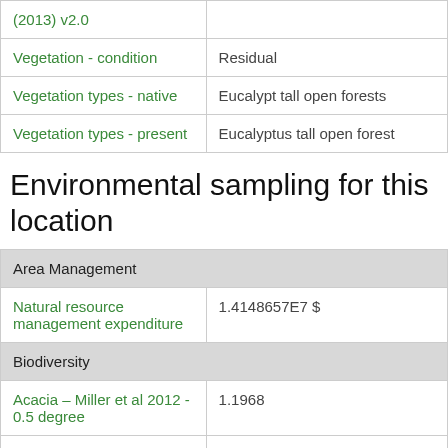| Attribute | Value |
| --- | --- |
| (2013) v2.0 |  |
| Vegetation - condition | Residual |
| Vegetation types - native | Eucalypt tall open forests |
| Vegetation types - present | Eucalyptus tall open forest |
Environmental sampling for this location
| Attribute | Value |
| --- | --- |
| Area Management |  |
| Natural resource management expenditure | 1.4148657E7 $ |
| Biodiversity |  |
| Acacia – Miller et al 2012 - 0.5 degree | 1.1968 |
| Amphibians (global) – Pyron & Wiens 2011 - 0.5 degree | 4.7878 |
| Endemism | 0.015646327 |